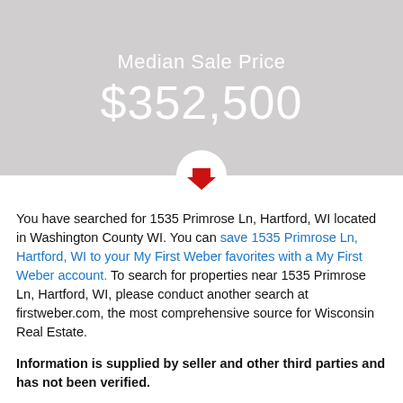[Figure (infographic): Map banner with light gray background showing Median Sale Price label and $352,500 value in white text, with a red downward arrow in a white circle at the bottom center]
You have searched for 1535 Primrose Ln, Hartford, WI located in Washington County WI. You can save 1535 Primrose Ln, Hartford, WI to your My First Weber favorites with a My First Weber account. To search for properties near 1535 Primrose Ln, Hartford, WI, please conduct another search at firstweber.com, the most comprehensive source for Wisconsin Real Estate.
Information is supplied by seller and other third parties and has not been verified.
IMPORTANT! PLEASE READ CAREFULLY
The data relating to real estate on this web site comes in part from the Internet Data Exchange display programs of the SCWMLS, CWMLS, RANW, NORTHWOODS and METRO MLS. Real Estate listings from SCWMLS held by brokerage firms other than First Weber are marked with the SCWMLS icon and/or include the